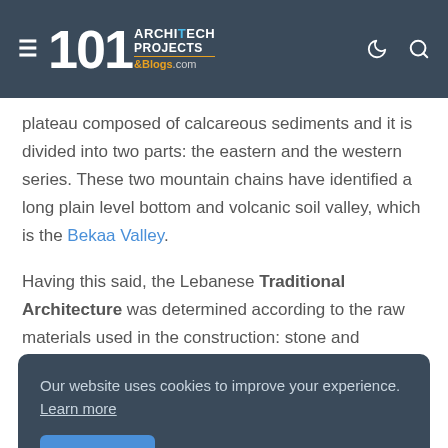101 ArchiTech Projects & Blogs .com
plateau composed of calcareous sediments and it is divided into two parts: the eastern and the western series. These two mountain chains have identified a long plain level bottom and volcanic soil valley, which is the Bekaa Valley.
Having this said, the Lebanese Traditional Architecture was determined according to the raw materials used in the construction: stone and limestone in Mount Lebanon, rough black basalt in Akkar, and soil in the Bekaa.
Our website uses cookies to improve your experience. Learn more
Accept !